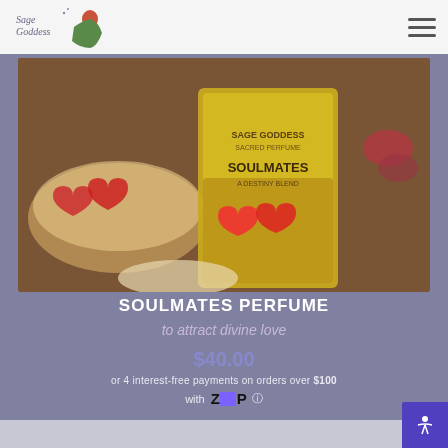[Figure (logo): Sage Goddess logo with illustrated woman in green dress and text]
[Figure (photo): Soulmates Perfume product bottle with yellow label, two red hearts, and crystal bowl with rose petals in background]
SOULMATES PERFUME
to attract divine love
$40.00
or 4 interest-free payments on orders over $100
with ZIP
[Figure (other): Five white star rating icons]